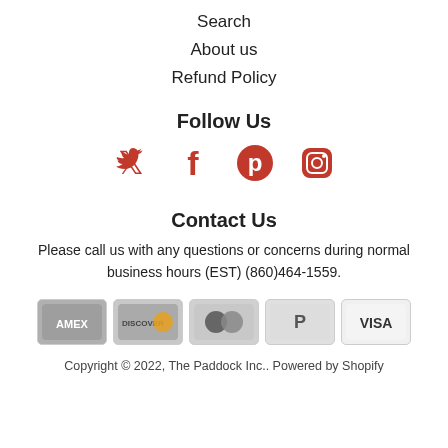Search
About us
Refund Policy
Follow Us
[Figure (illustration): Four social media icons in red: Twitter bird, Facebook f, Pinterest p, Instagram camera]
Contact Us
Please call us with any questions or concerns during normal business hours (EST) (860)464-1559.
[Figure (illustration): Five payment method icons: Amex, Discover, Mastercard, PayPal, Visa]
Copyright © 2022, The Paddock Inc.. Powered by Shopify